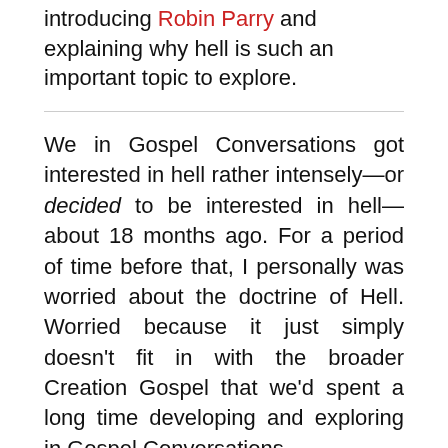introducing Robin Parry and explaining why hell is such an important topic to explore.
We in Gospel Conversations got interested in hell rather intensely—or decided to be interested in hell—about 18 months ago. For a period of time before that, I personally was worried about the doctrine of Hell. Worried because it just simply doesn't fit in with the broader Creation Gospel that we'd spent a long time developing and exploring in Gospel Conversations.
In Gospel Conversations we're really trying to take God out of the religious box and put him in the big wide world. That was a starting...